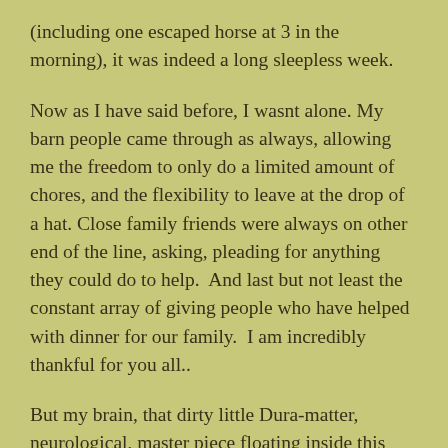(including one escaped horse at 3 in the morning), it was indeed a long sleepless week.
Now as I have said before, I wasnt alone. My barn people came through as always, allowing me the freedom to only do a limited amount of chores, and the flexibility to leave at the drop of a hat. Close family friends were always on other end of the line, asking, pleading for anything they could do to help.  And last but not least the constant array of giving people who have helped with dinner for our family.  I am incredibly thankful for you all..
But my brain, that dirty little Dura-matter, neurological, master piece floating inside this thick head.  If only I could shut it off for more than an hour, it would be grand.  If only I could turn off the constant questioning, turn down the vast medical